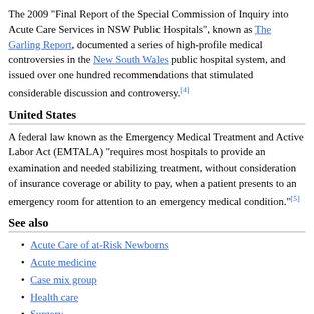The 2009 "Final Report of the Special Commission of Inquiry into Acute Care Services in NSW Public Hospitals", known as The Garling Report, documented a series of high-profile medical controversies in the New South Wales public hospital system, and issued over one hundred recommendations that stimulated considerable discussion and controversy.[4]
United States
A federal law known as the Emergency Medical Treatment and Active Labor Act (EMTALA) "requires most hospitals to provide an examination and needed stabilizing treatment, without consideration of insurance coverage or ability to pay, when a patient presents to an emergency room for attention to an emergency medical condition."[5]
See also
Acute Care of at-Risk Newborns
Acute medicine
Case mix group
Health care
Surgery